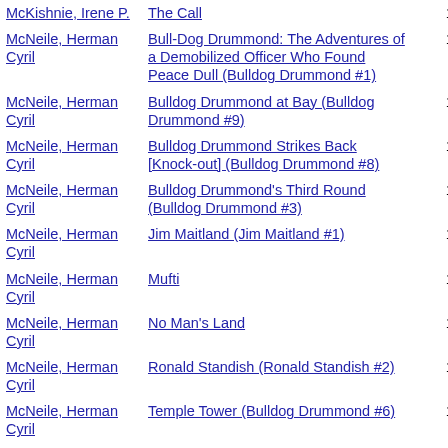McKishnie, Irene P. | The Call | 1923
McNeile, Herman Cyril | Bull-Dog Drummond: The Adventures of a Demobilized Officer Who Found Peace Dull (Bulldog Drummond #1) | 1920
McNeile, Herman Cyril | Bulldog Drummond at Bay (Bulldog Drummond #9) | 1935
McNeile, Herman Cyril | Bulldog Drummond Strikes Back [Knock-out] (Bulldog Drummond #8) | 1933
McNeile, Herman Cyril | Bulldog Drummond's Third Round (Bulldog Drummond #3) | 1924
McNeile, Herman Cyril | Jim Maitland (Jim Maitland #1) | 1924
McNeile, Herman Cyril | Mufti | 1919
McNeile, Herman Cyril | No Man's Land | 1917
McNeile, Herman Cyril | Ronald Standish (Ronald Standish #2) | 1933
McNeile, Herman Cyril | Temple Tower (Bulldog Drummond #6) | 1928
McNeile, Herman Cyril | The Black Gang (Bulldog Drummond #2) | 1922